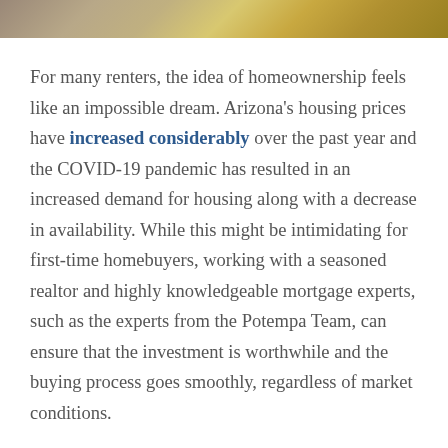[Figure (photo): Partial image strip at top of page showing a house/outdoor scene with warm yellow and brown tones]
For many renters, the idea of homeownership feels like an impossible dream. Arizona's housing prices have increased considerably over the past year and the COVID-19 pandemic has resulted in an increased demand for housing along with a decrease in availability. While this might be intimidating for first-time homebuyers, working with a seasoned realtor and highly knowledgeable mortgage experts, such as the experts from the Potempa Team, can ensure that the investment is worthwhile and the buying process goes smoothly, regardless of market conditions.
While renting has its perks, the benefits of homeownership far outweigh the benefits of